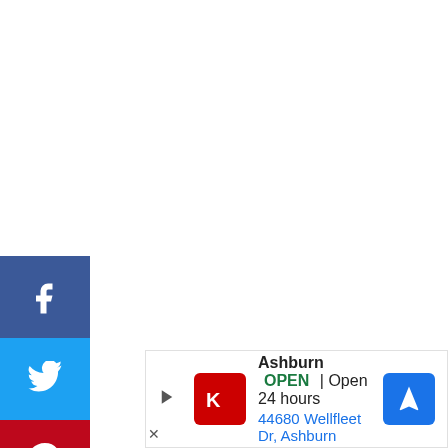[Figure (infographic): Social media sharing sidebar with Facebook (blue), Twitter (light blue), Pinterest (red), LinkedIn (dark blue), and Email (green) buttons, each showing respective icons in white.]
[Figure (infographic): Google Maps ad bar showing Kroger store in Ashburn: OPEN, Open 24 hours, 44680 Wellfleet Dr, Ashburn, with navigation arrow button.]